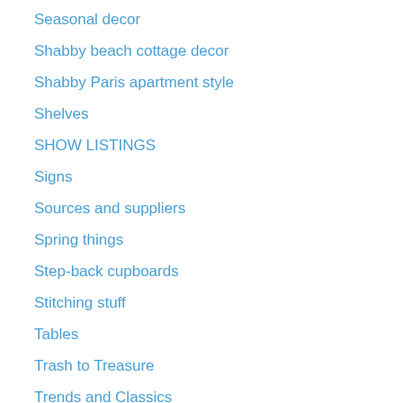Seasonal decor
Shabby beach cottage decor
Shabby Paris apartment style
Shelves
SHOW LISTINGS
Signs
Sources and suppliers
Spring things
Step-back cupboards
Stitching stuff
Tables
Trash to Treasure
Trends and Classics
Tutorials
Uncategorized
UPcycled
Valentine decor & ideas
VINTAGE LOVE
vintage milk glass
Yelve been featured!